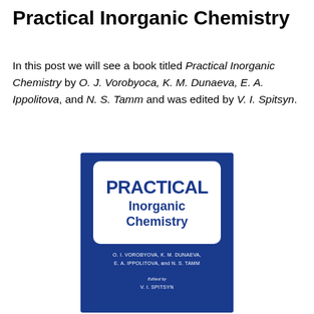Practical Inorganic Chemistry
In this post we will see a book titled Practical Inorganic Chemistry by O. J. Vorobyoca, K. M. Dunaeva, E. A. Ippolitova, and N. S. Tamm and was edited by V. I. Spitsyn.
[Figure (photo): Book cover of Practical Inorganic Chemistry. Dark blue background with a white rounded-rectangle containing the title 'PRACTICAL Inorganic Chemistry' in bold blue text. Below the white box, author names O. I. VOROBYOVA, K. M. DUNAEVA, E. A. IPPOLITOVA, and N. S. TAMM are listed in white text, followed by 'Edited by V. I. SPITSYN'.]